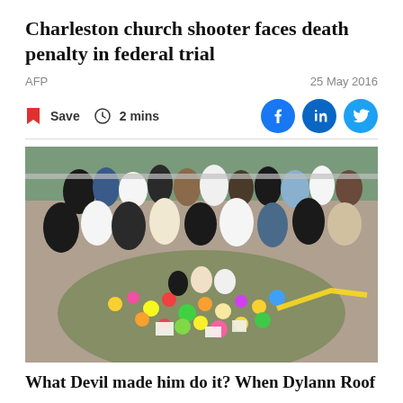Charleston church shooter faces death penalty in federal trial
AFP  25 May 2016
Save  2 mins
[Figure (photo): Aerial/overhead view of a large crowd of people gathered around a flower memorial on a sidewalk, with barriers visible in the background. The memorial is covered in flowers, candles, and notes.]
What Devil made him do it? When Dylann Roof